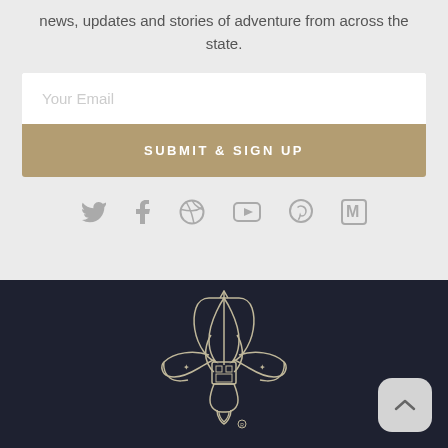news, updates and stories of adventure from across the state.
Your Email
SUBMIT & SIGN UP
[Figure (infographic): Social media icons: Twitter, Facebook, Dribbble, YouTube, Pinterest, Medium]
[Figure (logo): Boy Scouts of America fleur-de-lis logo in outline style on dark navy background]
[Figure (other): Scroll-to-top button (chevron up) in light gray rounded rectangle]